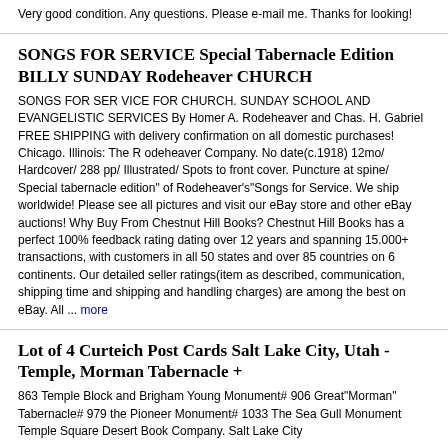Very good condition. Any questions. Please e-mail me. Thanks for looking!
SONGS FOR SERVICE Special Tabernacle Edition BILLY SUNDAY Rodeheaver CHURCH
SONGS FOR SER VICE FOR CHURCH. SUNDAY SCHOOL AND EVANGELISTIC SERVICES By Homer A. Rodeheaver and Chas. H. Gabriel FREE SHIPPING with delivery confirmation on all domestic purchases! Chicago. Illinois: The R odeheaver Company. No date(c.1918) 12mo/ Hardcover/ 288 pp/ Illustrated/ Spots to front cover. Puncture at spine/ Special tabernacle edition" of Rodeheaver's"Songs for Service. We ship worldwide! Please see all pictures and visit our eBay store and other eBay auctions! Why Buy From Chestnut Hill Books? Chestnut Hill Books has a perfect 100% feedback rating dating over 12 years and spanning 15.000+ transactions, with customers in all 50 states and over 85 countries on 6 continents. Our detailed seller ratings(item as described, communication, shipping time and shipping and handling charges) are among the best on eBay. All ... more
Lot of 4 Curteich Post Cards Salt Lake City, Utah -Temple, Morman Tabernacle +
863 Temple Block and Brigham Young Monument# 906 Great"Morman" Tabernacle# 979 the Pioneer Monument# 1033 The Sea Gull Monument Temple Square Desert Book Company. Salt Lake City
Great Mormon Tabernacle & Sea